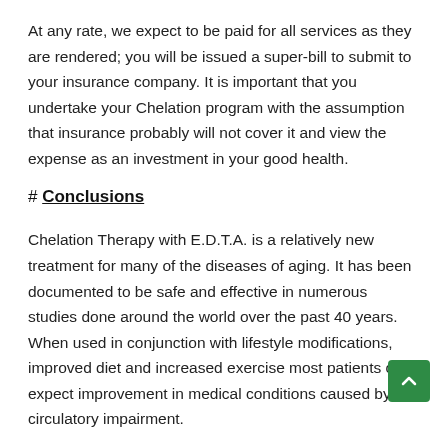At any rate, we expect to be paid for all services as they are rendered; you will be issued a super-bill to submit to your insurance company. It is important that you undertake your Chelation program with the assumption that insurance probably will not cover it and view the expense as an investment in your good health.
# Conclusions
Chelation Therapy with E.D.T.A. is a relatively new treatment for many of the diseases of aging. It has been documented to be safe and effective in numerous studies done around the world over the past 40 years. When used in conjunction with lifestyle modifications, improved diet and increased exercise most patients can expect improvement in medical conditions caused by circulatory impairment.
# References